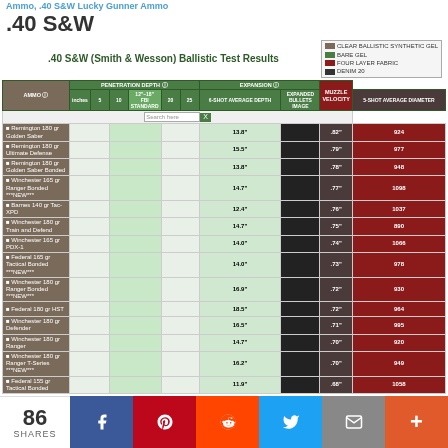Ammo, .40 S&W Lucky Gunner Ammo
.40 S&W
.40 S&W (Smith & Wesson) Ballistic Test Results
| AMMO | PENETRATION DEPTH | 6-SHOT AVERAGE DEPTH | EXPANDED BULLETS IMAGE | 5-SHOT AVERAGE DIAMETER | 5-10021 AVERAGE VELOCITY |
| --- | --- | --- | --- | --- | --- |
| Remington 180 gr Golden Saber |  | 13.8" |  | .82" | 924 |
| Remington 180 gr Ultimate Defense |  | 15.5" |  | .79" | 977 |
| Remington 180 gr Golden Saber Bonded |  | 13.8" |  | .78" | 948 |
| Winchester 165 gr Ranger Bonded ***NEW*** |  | 14.7" |  | .77" | 1098 |
| Barnes 140 gr Tac-XPD |  | 12.4" |  | .76" | 1037 |
| Winchester 180 gr Train and Defend |  | 14.7" |  | .75" | 890 |
| Winchester 165 gr PDX-1 |  | 14.0" |  | .74" | 1066 |
| Federal 165 gr Tactical Bonded ***NEW*** |  | 14.0" |  | .73" | 978 |
| Winchester 180 gr Ranger Bonded ***NEW*** |  | 16.9" |  | .72" | 930 |
| Federal 180 gr HST |  | 18.5" |  | .72" | 964 |
| Winchester 180 gr Defender |  | 16.5" |  | .71" | 995 |
| Winchester 180 gr Ranger |  | 14.7" |  | .70" | 920 |
| Winchester 180 gr Ranger T-Series ***NEW*** |  | 16.2" |  | .70" | 949 |
| Federal 155 gr Tactical Bonded |  | 11.9" |  | .68" | 1058 |
86 SHARES
[Figure (infographic): Share bar with Facebook, Pinterest, Reddit, Twitter, Email, and More buttons]